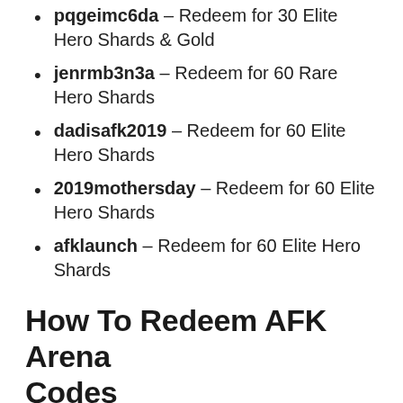pqgeimc6da – Redeem for 30 Elite Hero Shards & Gold
jenrmb3n3a – Redeem for 60 Rare Hero Shards
dadisafk2019 – Redeem for 60 Elite Hero Shards
2019mothersday – Redeem for 60 Elite Hero Shards
afklaunch – Redeem for 60 Elite Hero Shards
How To Redeem AFK Arena Codes
If you feel any difficulties while redeeming you